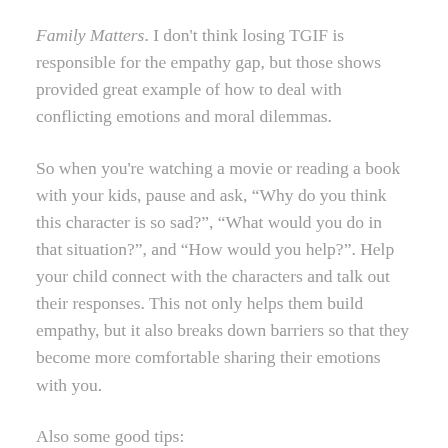Family Matters. I don't think losing TGIF is responsible for the empathy gap, but those shows provided great example of how to deal with conflicting emotions and moral dilemmas.
So when you're watching a movie or reading a book with your kids, pause and ask, “Why do you think this character is so sad?”, “What would you do in that situation?”, and “How would you help?”. Help your child connect with the characters and talk out their responses. This not only helps them build empathy, but it also breaks down barriers so that they become more comfortable sharing their emotions with you.
Also some good tips:
1) Let them pick out their own books. They are more likely to make connections when they are excited about the